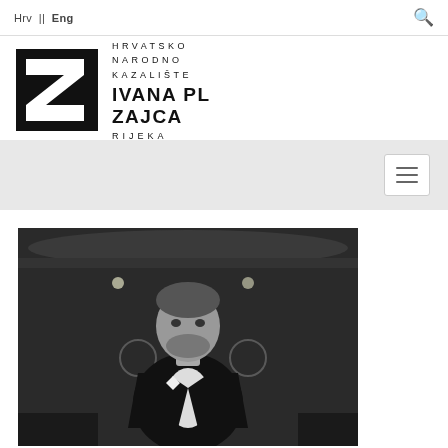Hrv || Eng
[Figure (logo): Hrvatsko Narodno Kazalište Ivana pl Zajca Rijeka logo with black Z-shaped square icon and text]
[Figure (other): Hamburger menu button on grey background]
[Figure (photo): Black and white portrait photo of a man in formal attire standing in a theatre interior]